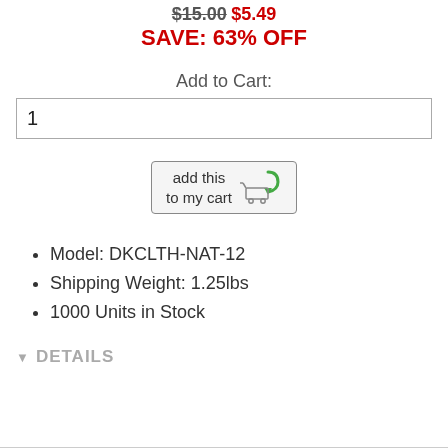$15.00 $5.49
SAVE: 63% OFF
Add to Cart:
1
[Figure (illustration): Add this to my cart button with shopping cart icon]
Model: DKCLTH-NAT-12
Shipping Weight: 1.25lbs
1000 Units in Stock
▼ DETAILS